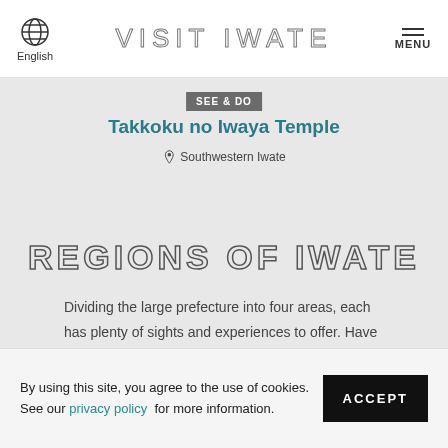VISIT IWATE
SEE & DO
Takkoku no Iwaya Temple
Southwestern Iwate
REGIONS OF IWATE
Dividing the large prefecture into four areas, each has plenty of sights and experiences to offer. Have a look at what strikes your fancy before deciding what to do and where.
By using this site, you agree to the use of cookies. See our privacy policy for more information.